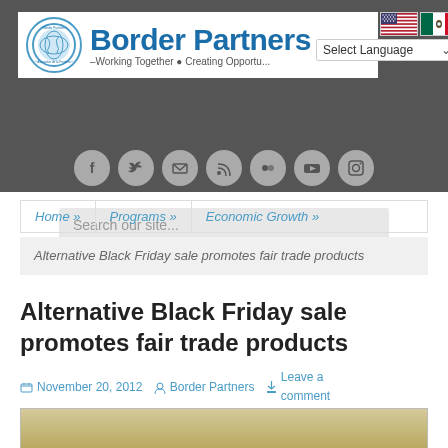[Figure (logo): Border Partners logo with circular globe icon and brand name, tagline, US and Mexico flags, and Select Language dropdown]
[Figure (screenshot): Search bar with placeholder text 'Search our site...']
[Figure (infographic): Row of 7 social media icons: Facebook, Twitter, Email, RSS, Flickr, YouTube, Instagram]
Home » Programs » Economic Growth »
Alternative Black Friday sale promotes fair trade products
Alternative Black Friday sale promotes fair trade products
November 20, 2012   Border Partners   Leave a comment
[Figure (photo): Partial photo of people in a room, bottom of page]